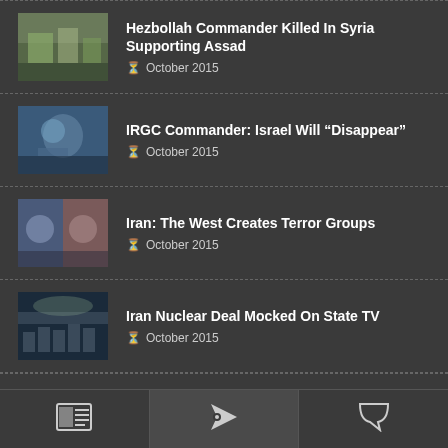Hezbollah Commander Killed In Syria Supporting Assad — October 2015
IRGC Commander: Israel Will “Disappear” — October 2015
Iran: The West Creates Terror Groups — October 2015
Iran Nuclear Deal Mocked On State TV — October 2015
Navigation bar with icons: newspaper, tag, comment